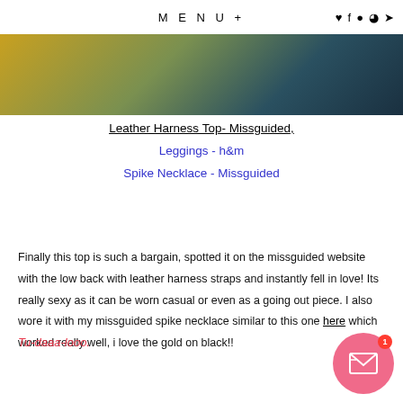MENU+
[Figure (photo): Partial photo showing colorful fabric/clothing strip at top of page]
Leather Harness Top- Missguided,
Leggings - h&m
Spike Necklace - Missguided
Finally this top is such a bargain, spotted it on the missguided website with the low back with leather harness straps and instantly fell in love! Its really sexy as it can be worn casual or even as a going out piece. I also wore it with my missguided spike necklace similar to this one here which worked really well, i love the gold on black!!
Tu-daaa-looo.